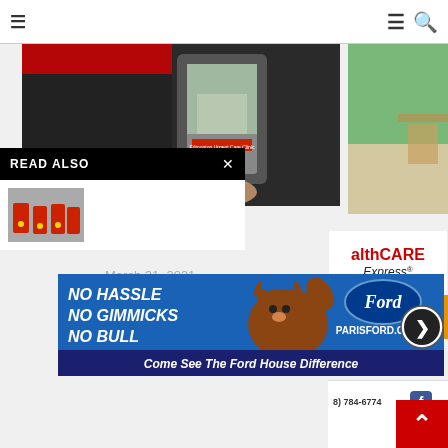[Figure (screenshot): Website navigation bar with hamburger menu icon on left and hamburger + search icon on right]
[Figure (photo): Article image showing a phone screen with a building photo and a red banner header, dark background]
[Figure (screenshot): READ ALSO popup overlay on black background with close X button and thumbnail of students in red uniforms]
March 31, 2021
[Figure (logo): HealthCARE Express logo in red and black text]
[Figure (other): Orange banner with large text 'ONE']
[Figure (infographic): Paris Ford advertisement: blue background with 'NO HASSLE NO GIMMICKS NO BULL' text, bull mascot, Ford oval logo, PARISFORD.COM, and tagline 'Come See The Ford House Difference']
[Figure (other): Bottom partial ad showing phone number (8) 784-6774 and Facebook icon]
[Figure (other): Red scroll-to-top button with up arrow chevron]